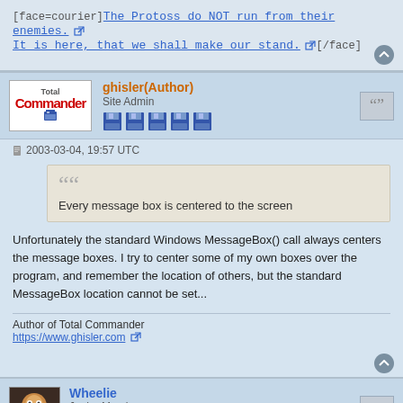[face=courier]The Protoss do NOT run from their enemies. [ext] It is here, that we shall make our stand. [ext][/face]
ghisler(Author)
Site Admin
2003-03-04, 19:57 UTC
Every message box is centered to the screen
Unfortunately the standard Windows MessageBox() call always centers the message boxes. I try to center some of my own boxes over the program, and remember the location of others, but the standard MessageBox location cannot be set...
Author of Total Commander
https://www.ghisler.com
Wheelie
Junior Member